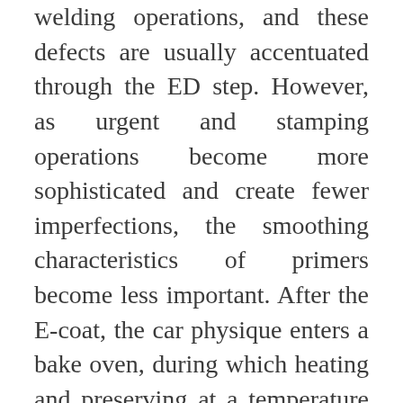welding operations, and these defects are usually accentuated through the ED step. However, as urgent and stamping operations become more sophisticated and create fewer imperfections, the smoothing characteristics of primers become less important. After the E-coat, the car physique enters a bake oven, during which heating and preserving at a temperature of a hundred and sixty Â°C for 10 min causes film curing to promote maximum performance properties. The oven temperature and heating time primarily enhance chip resistance and film adhesion to the body; corrosion protection is affected much less by these